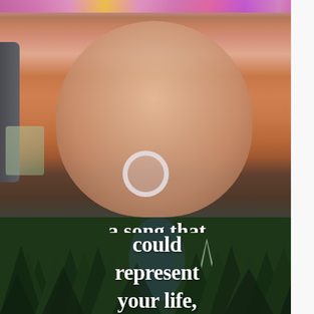[Figure (photo): Selfie of a young woman with long auburn/reddish hair and blue-green eyes, sitting in a car. She has a flower crown filter at the top of the image and a semi-transparent ring/circle overlay on her chin area. There is a car window and outdoor greenery visible to the left.]
[Figure (photo): Aerial view of a dense forest with tall evergreen trees and a winding path or river visible in the center. Overlaid with large bold white serif text reading (partially cut off at top) '...a song that could represent your life,']
could represent your life,